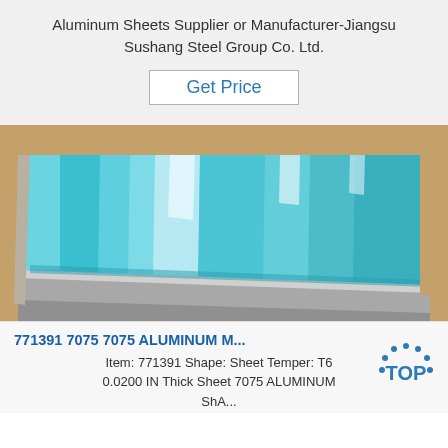Aluminum Sheets Supplier or Manufacturer-Jiangsu Sushang Steel Group Co. Ltd.
Get Price
[Figure (photo): Blue plastic-wrapped aluminum sheets stacked, showing blue protective film on top surface and bare silver aluminum on edges]
771391 7075 7075 ALUMINUM M...
Item: 771391 Shape: Sheet Temper: T6 0.0200 IN Thick Sheet 7075 ALUMINUM ShA...